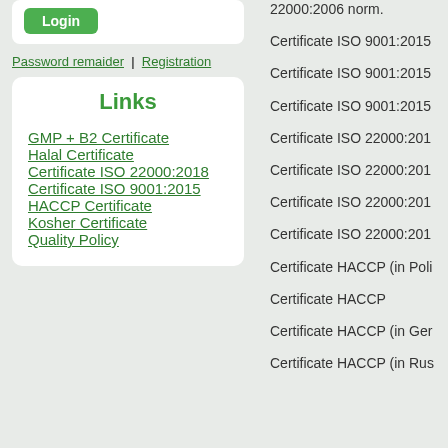22000:2006 norm.
Password remaider | Registration
Links
GMP + B2 Certificate
Halal Certificate
Certificate ISO 22000:2018
Certificate ISO 9001:2015
HACCP Certificate
Kosher Certificate
Quality Policy
Certificate ISO 9001:2015
Certificate ISO 9001:2015
Certificate ISO 9001:2015
Certificate ISO 22000:201
Certificate ISO 22000:201
Certificate ISO 22000:201
Certificate ISO 22000:201
Certificate HACCP (in Poli
Certificate HACCP
Certificate HACCP (in Ger
Certificate HACCP (in Rus